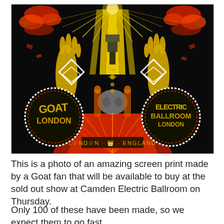[Figure (photo): A psychedelic screen print poster with black background featuring symmetrical gold, red, orange and white imagery. Two circular emblems with dotted borders on left and right sides contain stylized text. Center shows a corridor-like design with radiating patterns. Bottom center reads 'LONDON · ENGLAND' with crown symbols.]
This is a photo of an amazing screen print made by a Goat fan that will be available to buy at the sold out show at Camden Electric Ballroom on Thursday.
Only 100 of these have been made, so we expect them to go fast...